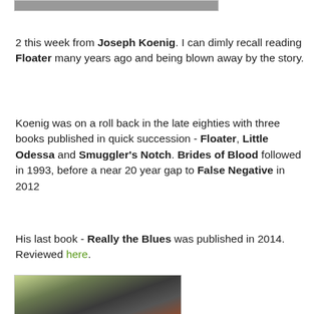[Figure (photo): Top cropped photo, partially visible]
2 this week from Joseph Koenig. I can dimly recall reading Floater many years ago and being blown away by the story.
Koenig was on a roll back in the late eighties with three books published in quick succession - Floater, Little Odessa and Smuggler's Notch. Brides of Blood followed in 1993, before a near 20 year gap to False Negative in 2012
His last book - Really the Blues was published in 2014. Reviewed here.
[Figure (photo): Bottom photo showing top of a person's head with dark hair, partial view]